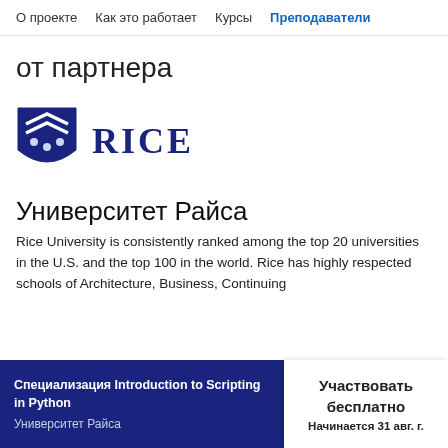О проекте   Как это работает   Курсы   Преподаватели
от партнера
[Figure (logo): Rice University shield logo with 'RICE' text in dark blue]
Университет Райса
Rice University is consistently ranked among the top 20 universities in the U.S. and the top 100 in the world. Rice has highly respected schools of Architecture, Business, Continuing
Специализация Introduction to Scripting in Python
Университет Райса
Участвовать бесплатно
Начинается 31 авг. г.